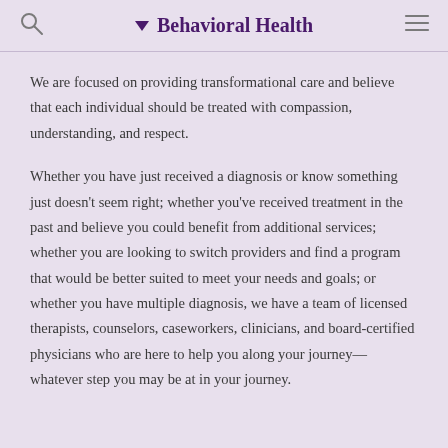Behavioral Health
We are focused on providing transformational care and believe that each individual should be treated with compassion, understanding, and respect.
Whether you have just received a diagnosis or know something just doesn't seem right; whether you've received treatment in the past and believe you could benefit from additional services; whether you are looking to switch providers and find a program that would be better suited to meet your needs and goals; or whether you have multiple diagnosis, we have a team of licensed therapists, counselors, caseworkers, clinicians, and board-certified physicians who are here to help you along your journey—whatever step you may be at in your journey.